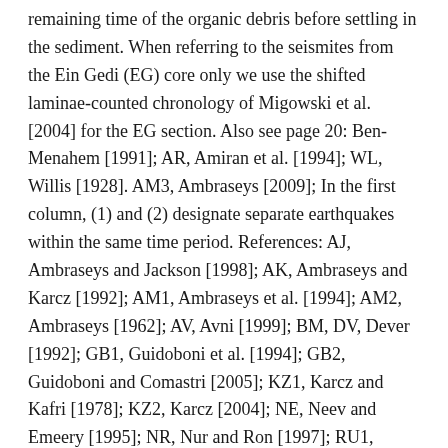remaining time of the organic debris before settling in the sediment. When referring to the seismites from the Ein Gedi (EG) core only we use the shifted laminae-counted chronology of Migowski et al. [2004] for the EG section. Also see page 20: Ben-Menahem [1991]; AR, Amiran et al. [1994]; WL, Willis [1928]. AM3, Ambraseys [2009]; In the first column, (1) and (2) designate separate earthquakes within the same time period. References: AJ, Ambraseys and Jackson [1998]; AK, Ambraseys and Karcz [1992]; AM1, Ambraseys et al. [1994]; AM2, Ambraseys [1962]; AV, Avni [1999]; BM, DV, Dever [1992]; GB1, Guidoboni et al. [1994]; GB2, Guidoboni and Comastri [2005]; KZ1, Karcz and Kafri [1978]; KZ2, Karcz [2004]; NE, Neev and Emeery [1995]; NR, Nur and Ron [1997]; RU1, Russell [1980]; RU2, Russell [1985]; SB, Sbeinati et al. [2005]; SC, Schaeffer [1948]; WL (after Arvanitakis) documents damage to